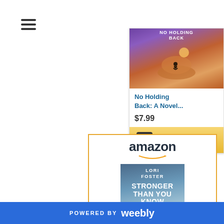[Figure (screenshot): Hamburger menu icon (three horizontal lines) in top-left corner]
[Figure (screenshot): Amazon advertisement card for 'No Holding Back: A Novel...' priced at $7.99 with a Shop now button, positioned top-right]
[Figure (screenshot): Amazon advertisement card for 'Stronger Than You Know' by Lori Foster, positioned bottom-center with Amazon logo and book cover image]
POWERED BY weebly